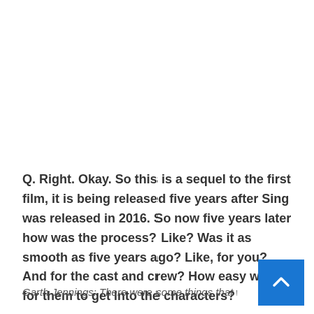Q. Right. Okay. So this is a sequel to the first film, it is being released five years after Sing was released in 2016. So now five years later how was the process? Like? Was it as smooth as five years ago? Like, for you? And for the cast and crew? How easy was it for them to get into the characters?
Garth Jennings: There were some things that were